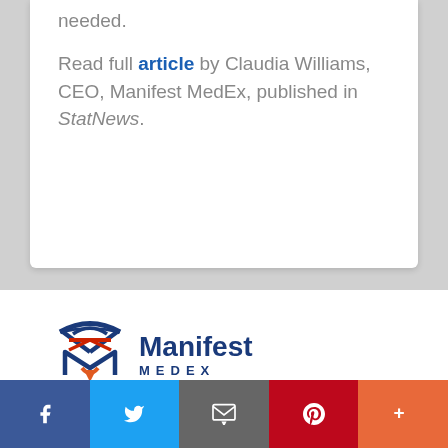needed.
Read full article by Claudia Williams, CEO, Manifest MedEx, published in StatNews.
[Figure (logo): Manifest MedEx logo with stylized M icon in blue and orange/red colors, followed by 'Manifest' in bold dark blue and 'MEDEX' in spaced dark blue letters]
Manifest MedEx is tackling one of healthcare’s hardest and
Facebook | Twitter | Email | Pinterest | More